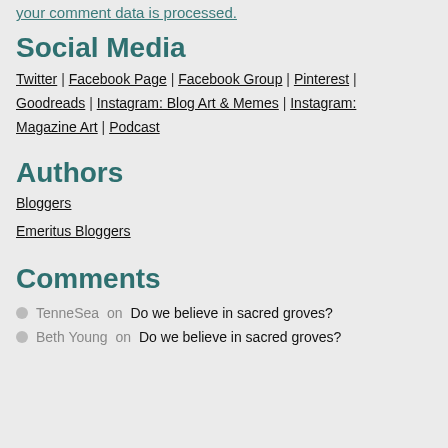your comment data is processed.
Social Media
Twitter | Facebook Page | Facebook Group | Pinterest | Goodreads | Instagram: Blog Art & Memes | Instagram: Magazine Art | Podcast
Authors
Bloggers
Emeritus Bloggers
Comments
TenneSea on Do we believe in sacred groves?
Beth Young on Do we believe in sacred groves?